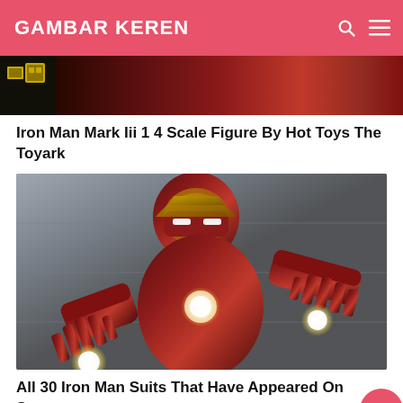GAMBAR KEREN
[Figure (photo): Partial Iron Man figure photo at top, showing red and gold armor against dark background]
Iron Man Mark Iii 1 4 Scale Figure By Hot Toys The Toyark
[Figure (photo): Iron Man in red and gold armor suit, both palms facing forward with repulsor glows, chest repulsor lit, standing against concrete background]
All 30 Iron Man Suits That Have Appeared On Screen